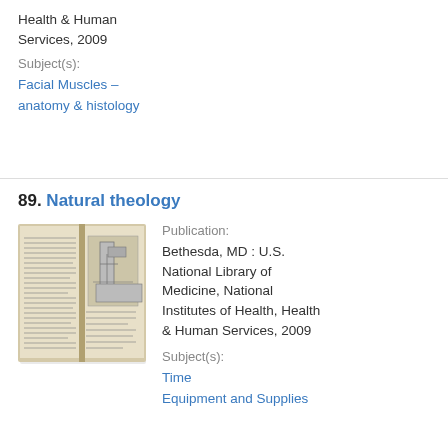Health & Human Services, 2009
Subject(s):
Facial Muscles – anatomy & histology
89. Natural theology
[Figure (photo): Open book showing two pages with text and a diagram/illustration of mechanical equipment]
Publication:
Bethesda, MD : U.S. National Library of Medicine, National Institutes of Health, Health & Human Services, 2009
Subject(s):
Time
Equipment and Supplies